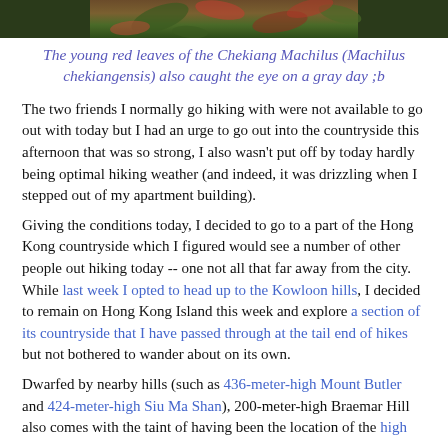[Figure (photo): Top portion of a nature/hiking photo showing green leaves and reddish foliage against a dark background]
The young red leaves of the Chekiang Machilus (Machilus chekiangensis) also caught the eye on a gray day ;b
The two friends I normally go hiking with were not available to go out with today but I had an urge to go out into the countryside this afternoon that was so strong, I also wasn't put off by today hardly being optimal hiking weather (and indeed, it was drizzling when I stepped out of my apartment building).
Giving the conditions today, I decided to go to a part of the Hong Kong countryside which I figured would see a number of other people out hiking today -- one not all that far away from the city. While last week I opted to head up to the Kowloon hills, I decided to remain on Hong Kong Island this week and explore a section of its countryside that I have passed through at the tail end of hikes but not bothered to wander about on its own.
Dwarfed by nearby hills (such as 436-meter-high Mount Butler and 424-meter-high Siu Ma Shan), 200-meter-high Braemar Hill also comes with the taint of having been the location of the high